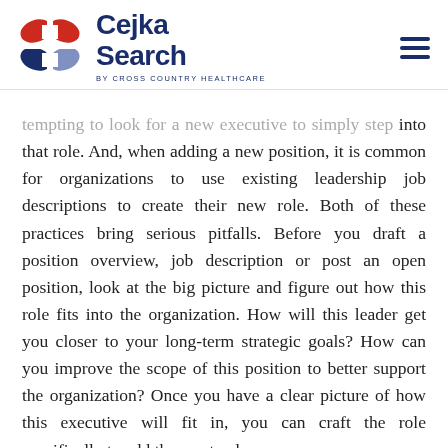[Figure (logo): Cejka Search by Cross Country Healthcare logo with red and blue abstract icon and dark blue text]
tempting to look for a new executive to simply step into that role. And, when adding a new position, it is common for organizations to use existing leadership job descriptions to create their new role. Both of these practices bring serious pitfalls. Before you draft a position overview, job description or post an open position, look at the big picture and figure out how this role fits into the organization. How will this leader get you closer to your long-term strategic goals? How can you improve the scope of this position to better support the organization? Once you have a clear picture of how this executive will fit in, you can craft the role specifically to add the most value.